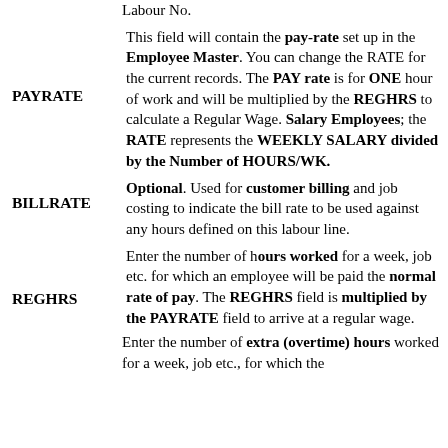Labour No.
This field will contain the pay-rate set up in the Employee Master. You can change the RATE for the current records. The PAY rate is for ONE hour of work and will be multiplied by the REGHRS to calculate a Regular Wage. Salary Employees; the RATE represents the WEEKLY SALARY divided by the Number of HOURS/WK.
PAYRATE
Optional. Used for customer billing and job costing to indicate the bill rate to be used against any hours defined on this labour line.
BILLRATE
Enter the number of hours worked for a week, job etc. for which an employee will be paid the normal rate of pay. The REGHRS field is multiplied by the PAYRATE field to arrive at a regular wage.
REGHRS
Enter the number of extra (overtime) hours worked for a week, job etc., for which the